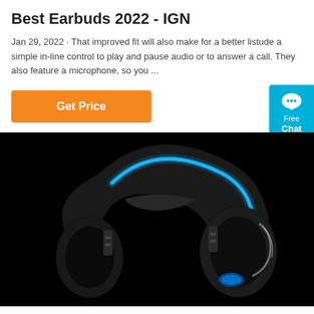Best Earbuds 2022 - IGN
Jan 29, 2022 · That improved fit will also make for a better listude a simple in-line control to play and pause audio or to answer a call. They also feature a microphone, so you ...
[Figure (other): Orange 'Get Price' button and a cyan 'Free Chat' widget on the right side]
[Figure (photo): A black gaming headset with blue LED accent lighting on a black background]